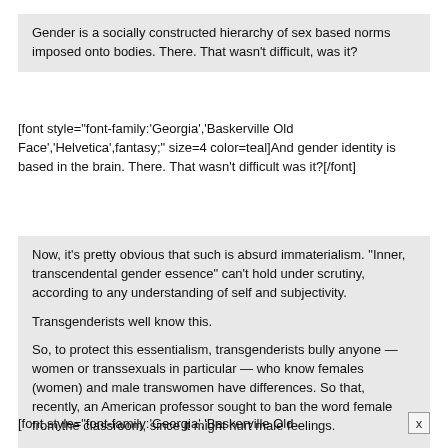Gender is a socially constructed hierarchy of sex based norms imposed onto bodies. There. That wasn't difficult, was it?
[font style="font-family:'Georgia','Baskerville Old Face','Helvetica',fantasy;" size=4 color=teal]And gender identity is based in the brain. There. That wasn't difficult was it?[/font]
Now, it's pretty obvious that such is absurd immaterialism. “Inner, transcendental gender essence” can't hold under scrutiny, according to any understanding of self and subjectivity.

Transgenderists well know this.

So, to protect this essentialism, transgenderists bully anyone — women or transsexuals in particular — who know females (women) and male transwomen have differences. So that, recently, an American professor sought to ban the word female from the classroom, since it might hurt male feelings.

I kid you not: Biology is now considered offensive.
[font style="font-family:'Georgia','Baskerville Old